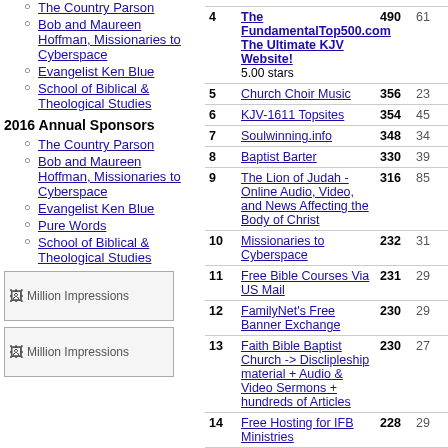The Country Parson
Bob and Maureen Hoffman, Missionaries to Cyberspace
Evangelist Ken Blue
School of Biblical & Theological Studies
2016 Annual Sponsors
The Country Parson
Bob and Maureen Hoffman, Missionaries to Cyberspace
Evangelist Ken Blue
Pure Words
School of Biblical & Theological Studies
[Figure (other): Million Impressions banner ad placeholder]
[Figure (other): Million Impressions banner ad placeholder]
| # | Site | In | Out |
| --- | --- | --- | --- |
| 4 | The FundamentalTop500.com The Ultimate KJV Website! 5.00 stars | 490 | 61 |
| 5 | Church Choir Music | 356 | 23 |
| 6 | KJV-1611 Topsites | 354 | 45 |
| 7 | Soulwinning.info | 348 | 34 |
| 8 | Baptist Barter | 330 | 39 |
| 9 | The Lion of Judah - Online Audio, Video, and News Affecting the Body of Christ | 316 | 85 |
| 10 | Missionaries to Cyberspace | 232 | 31 |
| 11 | Free Bible Courses Via US Mail | 231 | 29 |
| 12 | FamilyNet's Free Banner Exchange | 230 | 29 |
| 13 | Faith Bible Baptist Church -> Disclipleship material + Audio & Video Sermons + hundreds of Articles | 230 | 27 |
| 14 | Free Hosting for IFB Ministries | 228 | 29 |
| 15 | Baptist Ministries Database- Searchable by over 1000 categories including location | 228 | 29 |
| 16 | College of The Open Bible | 226 | 14 |
| 17 | Yourname@baptist.email Personalized Email Accounts | 225 | 28 |
| 18 | ekklesia-online - Domain Registry/Hosting/Email/Wesbite Tonight/SSL | 225 | 28 |
| 19 | Bible Truth | 196 | 37 |
| 20 | Free Bulletin Insert, Sunday | 153 | 2 |